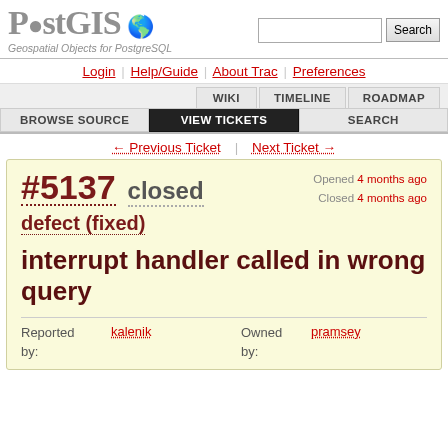[Figure (logo): PostGIS logo with globe icon and text 'PostGIS', subtitle 'Geospatial Objects for PostgreSQL']
Login | Help/Guide | About Trac | Preferences
WIKI | TIMELINE | ROADMAP | BROWSE SOURCE | VIEW TICKETS | SEARCH
← Previous Ticket | Next Ticket →
#5137 closed defect (fixed)
interrupt handler called in wrong query
Opened 4 months ago
Closed 4 months ago
Reported by: kalenik   Owned by: pramsey